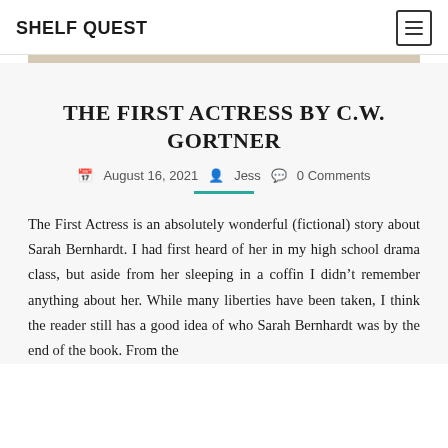SHELF QUEST
THE FIRST ACTRESS BY C.W. GORTNER
August 16, 2021  Jess  0 Comments
The First Actress is an absolutely wonderful (fictional) story about Sarah Bernhardt. I had first heard of her in my high school drama class, but aside from her sleeping in a coffin I didn't remember anything about her. While many liberties have been taken, I think the reader still has a good idea of who Sarah Bernhardt was by the end of the book. From the